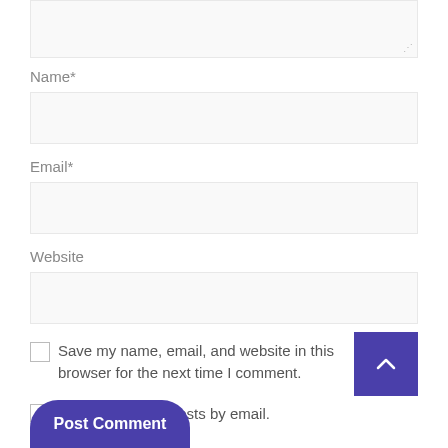[Figure (screenshot): Top portion of a comment form text area, showing a light gray input box with a resize handle icon in the bottom right corner.]
Name*
[Figure (screenshot): Name input field — a light gray empty text box.]
Email*
[Figure (screenshot): Email input field — a light gray empty text box.]
Website
[Figure (screenshot): Website input field — a light gray empty text box.]
Save my name, email, and website in this browser for the next time I comment.
Notify me of new posts by email.
Post Comment